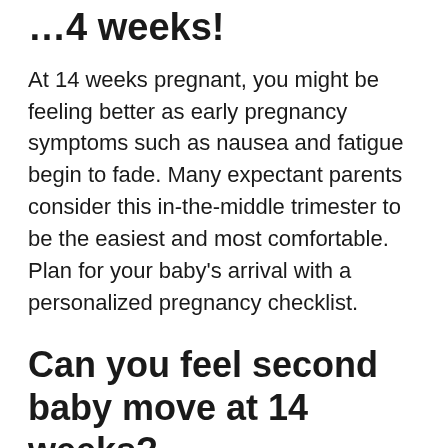…4 weeks!
At 14 weeks pregnant, you might be feeling better as early pregnancy symptoms such as nausea and fatigue begin to fade. Many expectant parents consider this in-the-middle trimester to be the easiest and most comfortable. Plan for your baby's arrival with a personalized pregnancy checklist.
Can you feel second baby move at 14 weeks?
When Will I Feel My Baby Kicking? You should feel your baby's first movements, called “quickening,” between weeks 16 and 25 of your pregnancy. If this is your first pregnancy, you may not feel your baby